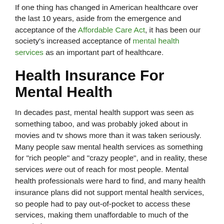If one thing has changed in American healthcare over the last 10 years, aside from the emergence and acceptance of the Affordable Care Act, it has been our society's increased acceptance of mental health services as an important part of healthcare.
Health Insurance For Mental Health
In decades past, mental health support was seen as something taboo, and was probably joked about in movies and tv shows more than it was taken seriously. Many people saw mental health services as something for "rich people" and "crazy people", and in reality, these services were out of reach for most people. Mental health professionals were hard to find, and many health insurance plans did not support mental health services, so people had to pay out-of-pocket to access these services, making them unaffordable to much of the population.